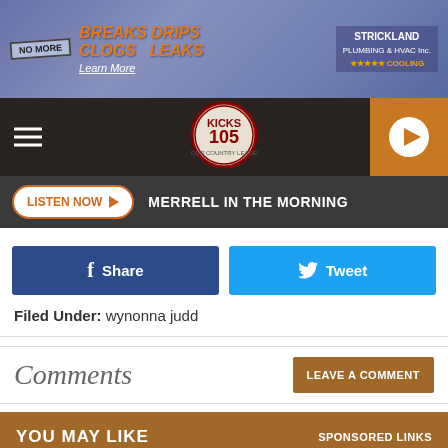[Figure (screenshot): Strickland Plumbing & HVAC advertisement banner - No More Breaks Drips Clogs Leaks, Learn More]
[Figure (logo): Kicks 105 radio station navigation bar with hamburger menu and play button]
LISTEN NOW ▶  MERRELL IN THE MORNING
f  Share
Tweet
Filed Under: wynonna judd
Comments
LEAVE A COMMENT
YOU MAY LIKE    SPONSORED LINKS
[Figure (photo): Partially visible sponsored content photo]
[Figure (screenshot): Strickland Plumbing & HVAC advertisement banner bottom - No More Breaks Drips Clogs Leaks, Learn More]